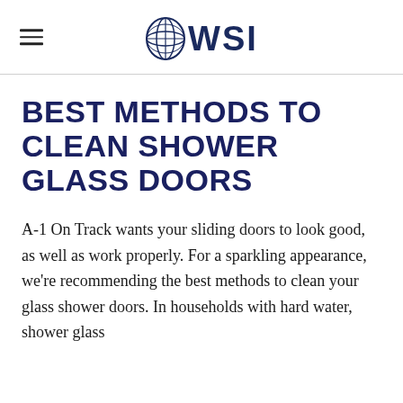WSI
BEST METHODS TO CLEAN SHOWER GLASS DOORS
A-1 On Track wants your sliding doors to look good, as well as work properly. For a sparkling appearance, we're recommending the best methods to clean your glass shower doors. In households with hard water, shower glass